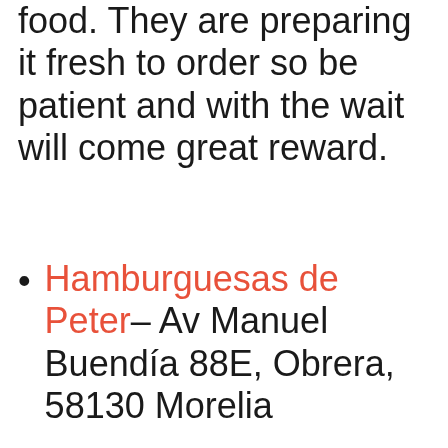food. They are preparing it fresh to order so be patient and with the wait will come great reward.
Hamburguesas de Peter– Av Manuel Buendía 88E, Obrera, 58130 Morelia